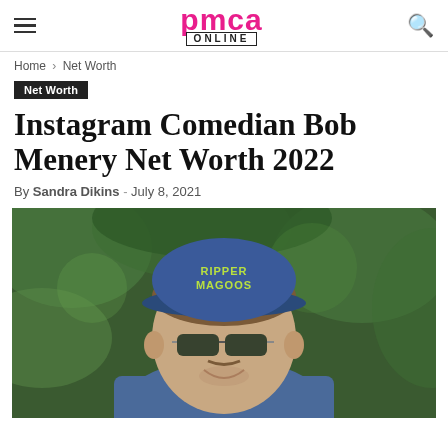PMCA ONLINE
Home › Net Worth
Net Worth
Instagram Comedian Bob Menery Net Worth 2022
By Sandra Dikins - July 8, 2021
[Figure (photo): Man smiling outdoors, wearing a blue cap with 'RIPPER MAGOOS' text, dark sunglasses, and a blue t-shirt. Background is blurred green foliage.]